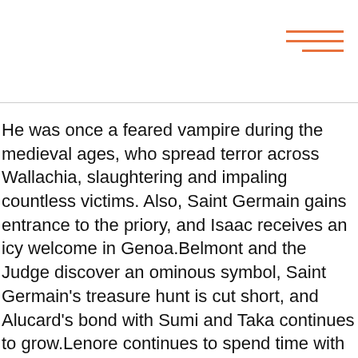[Figure (other): Hamburger menu icon with three horizontal orange lines in the top-right corner]
He was once a feared vampire during the medieval ages, who spread terror across Wallachia, slaughtering and impaling countless victims. Also, Saint Germain gains entrance to the priory, and Isaac receives an icy welcome in Genoa.Belmont and the Judge discover an ominous symbol, Saint Germain's treasure hunt is cut short, and Alucard's bond with Sumi and Taka continues to grow.Lenore continues to spend time with Hector, slowly earning his trust. He would later admit that she was the only true love he had ever known. Though Alucard initiates the attack, Dracula easily beats back his son and his allies but together, they gain the upper hand in wounding Dracula. Despite his master's death, Isaac still sees it as his responsibility to carry out Dracula's wishes and bring about the end of humanity, and ultimately kill Hector for his betrayal.Isaac's tiny force of night creatures eventually amasses into a huge legion after coming into contact with various different human settlements. Though she successfully manipulated Hector, Isaac is loyal to Dracu...